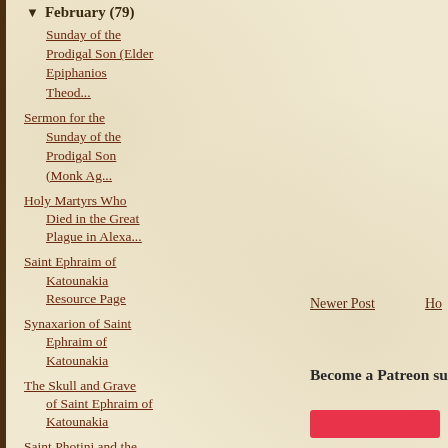▼ February (79)
Sunday of the Prodigal Son (Elder Epiphanios Theod...
Sermon for the Sunday of the Prodigal Son (Monk Ag...
Holy Martyrs Who Died in the Great Plague in Alexa...
Saint Ephraim of Katounakia Resource Page
Synaxarion of Saint Ephraim of Katounakia
The Skull and Grave of Saint Ephraim of Katounakia
Saint Photini and the Spirit of the Triodion
Newer Post
Ho
Become a Patreon supporter: